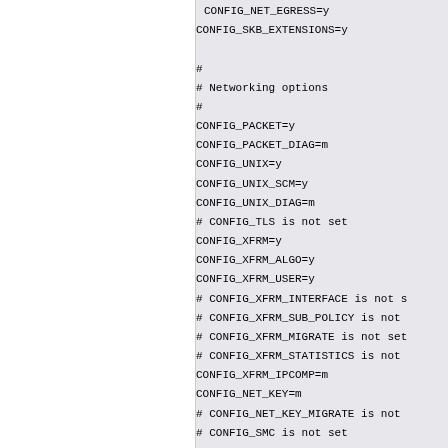CONFIG_NET_EGRESS=y
CONFIG_SKB_EXTENSIONS=y

#
# Networking options
#
CONFIG_PACKET=y
CONFIG_PACKET_DIAG=m
CONFIG_UNIX=y
CONFIG_UNIX_SCM=y
CONFIG_UNIX_DIAG=m
# CONFIG_TLS is not set
CONFIG_XFRM=y
CONFIG_XFRM_ALGO=y
CONFIG_XFRM_USER=y
# CONFIG_XFRM_INTERFACE is not s
# CONFIG_XFRM_SUB_POLICY is not
# CONFIG_XFRM_MIGRATE is not set
# CONFIG_XFRM_STATISTICS is not
CONFIG_XFRM_IPCOMP=m
CONFIG_NET_KEY=m
# CONFIG_NET_KEY_MIGRATE is not
# CONFIG_SMC is not set
CONFIG_INET=y
CONFIG_IP_MULTICAST=y
CONFIG_IP_ADVANCED_ROUTER=y
CONFIG_IP_FIB_TRIE_STATS=y
CONFIG_IP_MULTIPLE_TABLES=y
CONFIG_IP_ROUTE_MULTIPATH=y
CONFIG_IP_ROUTE_VERBOSE=y
CONFIG_IP_ROUTE_CLASSID=y
# CONFIG_IP_PNP is not set
CONFIG_NET_IPIP...